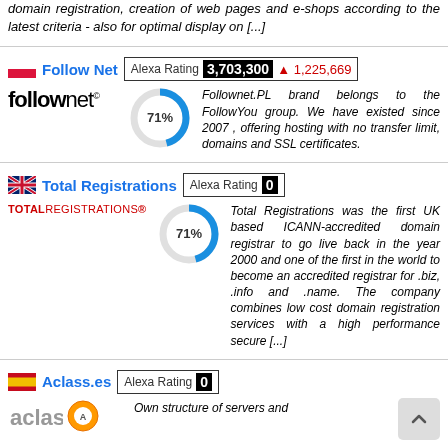domain registration, creation of web pages and e-shops according to the latest criteria - also for optimal display on [...]
Follow Net — Alexa Rating 3,703,300 ▲1,225,669
Follownet.PL brand belongs to the FollowYou group. We have existed since 2007 , offering hosting with no transfer limit, domains and SSL certificates.
Total Registrations — Alexa Rating 0
Total Registrations was the first UK based ICANN-accredited domain registrar to go live back in the year 2000 and one of the first in the world to become an accredited registrar for .biz, .info and .name. The company combines low cost domain registration services with a high performance secure [...]
Aclass.es — Alexa Rating 0
Own structure of servers and